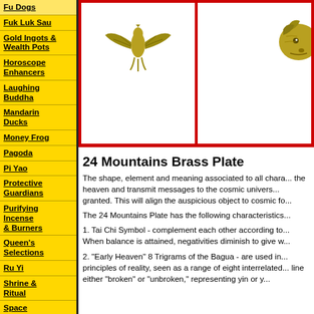Fu Dogs
Fuk Luk Sau
Gold Ingots & Wealth Pots
Horoscope Enhancers
Laughing Buddha
Mandarin Ducks
Money Frog
Pagoda
Pi Yao
Protective Guardians
Purifying Incense & Burners
Queen's Selections
Ru Yi
Shrine & Ritual
Space Clearing
Special Cure & Enhancer
Water Feature
[Figure (photo): Two golden bird/crane figurines shown partially, one centered and one at right edge, against white background with red borders]
24 Mountains Brass Plate
The shape, element and meaning associated to all chara... the heaven and transmit messages to the cosmic univers... granted. This will align the auspicious object to cosmic fo...
The 24 Mountains Plate has the following characteristics...
1. Tai Chi Symbol - complement each other according to... When balance is attained, negativities diminish to give w...
2. "Early Heaven" 8 Trigrams of the Bagua - are used in... principles of reality, seen as a range of eight interrelated... line either "broken" or "unbroken," representing yin or y...